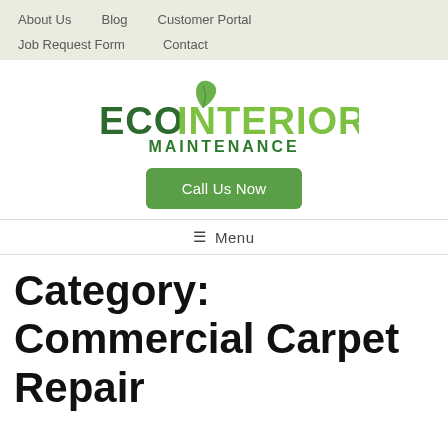About Us  Blog  Customer Portal  Job Request Form  Contact
[Figure (logo): Eco Interior Maintenance logo with green leaf and green text]
Call Us Now
≡ Menu
Category: Commercial Carpet Repair